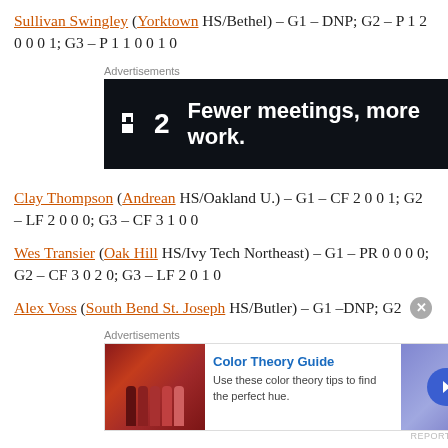Sullivan Swingley (Yorktown HS/Bethel) — G1 — DNP; G2 — P 1 2 0 0 0 1; G3 — P 1 1 0 0 1 0
[Figure (other): Dark advertisement banner: logo showing a checkbox icon and '2', text 'Fewer meetings, more work.']
Clay Thompson (Andrean HS/Oakland U.) — G1 — CF 2 0 0 1; G2 — LF 2 0 0 0; G3 — CF 3 1 0 0
Wes Transier (Oak Hill HS/Ivy Tech Northeast) — G1 — PR 0 0 0 0; G2 — CF 3 0 2 0; G3 — LF 2 0 1 0
Alex Voss (South Bend St. Joseph HS/Butler) — G1 —DNP; G2
[Figure (other): Color Theory Guide advertisement with nail polish swatches and 'Use these color theory tips to find the perfect hue.']